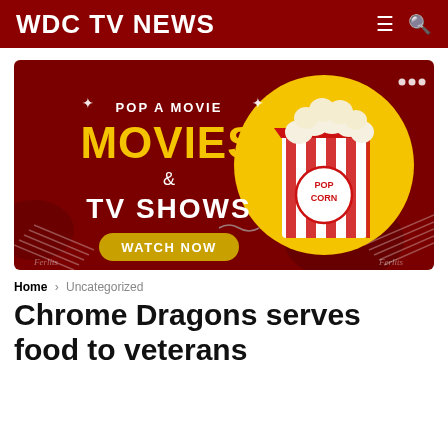WDC TV NEWS
[Figure (illustration): Advertisement banner for a movies and TV shows streaming service. Dark red background with yellow text reading 'POP A MOVIE' and 'MOVIES & TV SHOWS' with a 'WATCH NOW' button. A popcorn bucket on a yellow circle on the right side.]
Home > Uncategorized
Chrome Dragons serves food to veterans